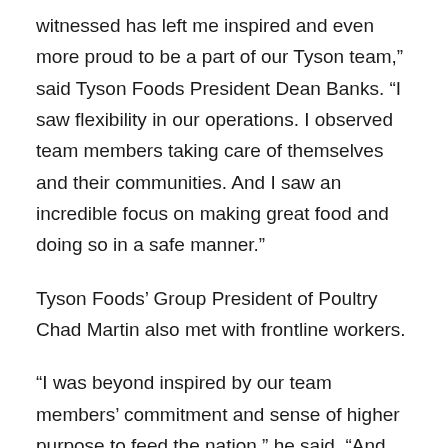witnessed has left me inspired and even more proud to be a part of our Tyson team," said Tyson Foods President Dean Banks. "I saw flexibility in our operations. I observed team members taking care of themselves and their communities. And I saw an incredible focus on making great food and doing so in a safe manner."
Tyson Foods’ Group President of Poultry Chad Martin also met with frontline workers.
“I was beyond inspired by our team members’ commitment and sense of higher purpose to feed the nation,” he said. “And proud of our plant lead teams’ rapid implementation of safety measures.”
What they witnessed was more than teamwork. It was a